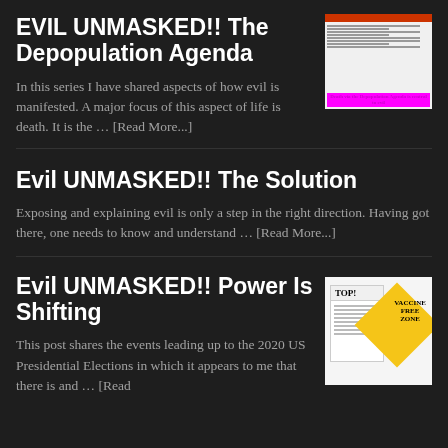EVIL UNMASKED!! The Depopulation Agenda
In this series I have shared aspects of how evil is manifested. A major focus of this aspect of life is death. It is the … [Read More...]
[Figure (screenshot): Screenshot of a document with red highlights and purple caption text reading 'Death via the Depopulation Agenda is central to evil']
Evil UNMASKED!! The Solution
Exposing and explaining evil is only a step in the right direction. Having got there, one needs to know and understand … [Read More...]
Evil UNMASKED!! Power Is Shifting
This post shares the events leading up to the 2020 US Presidential Elections in which it appears to me that there is and … [Read
[Figure (photo): Image showing a letter and a yellow diamond-shaped sign reading 'VACCINE FREE ZONE']